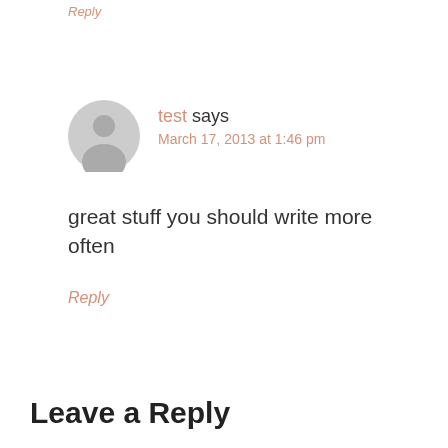Reply
test says
March 17, 2013 at 1:46 pm
great stuff you should write more often
Reply
Leave a Reply